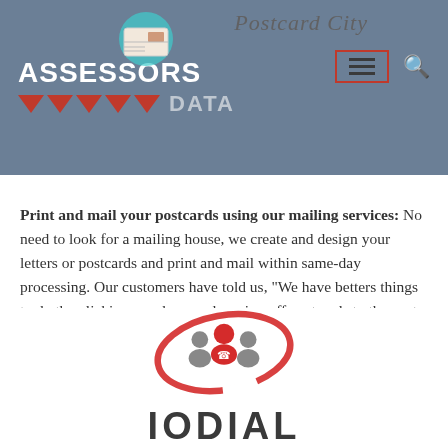ASSESSORS DATA | Postcard City (navigation header)
Print and mail your postcards using our mailing services: No need to look for a mailing house, we create and design your letters or postcards and print and mail within same-day processing. Our customers have told us, “We have betters things to do than licking envelops or dropping off postcards to the post office.” to learn more please visit PostCardCity.com
[Figure (logo): ioDial logo with red swoosh/circle around gray figures representing people, with a red phone icon, and bold text IODIAL below]